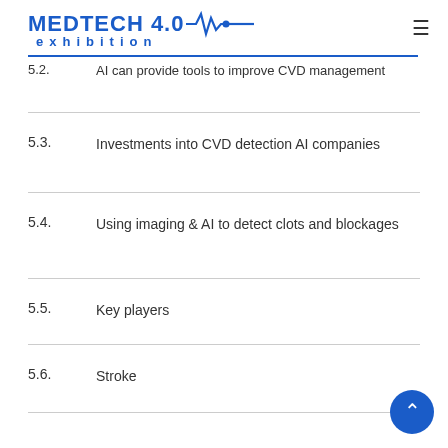MEDTECH 4.0 exhibition
5.2.  AI can provide tools to improve CVD management
5.3.  Investments into CVD detection AI companies
5.4.  Using imaging & AI to detect clots and blockages
5.5.  Key players
5.6.  Stroke